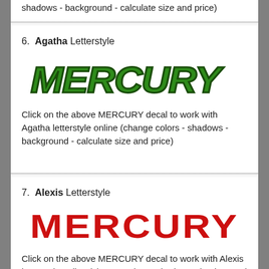shadows - background - calculate size and price)
6.  Agatha Letterstyle
[Figure (logo): MERCURY word in Agatha letterstyle - green decorative bold italic font with dark outlines]
Click on the above MERCURY decal to work with Agatha letterstyle online (change colors - shadows - background - calculate size and price)
7.  Alexis Letterstyle
[Figure (logo): MERCURY word in Alexis letterstyle - red bold condensed font]
Click on the above MERCURY decal to work with Alexis letterstyle online (change colors - shadows - background - calculate size and price)